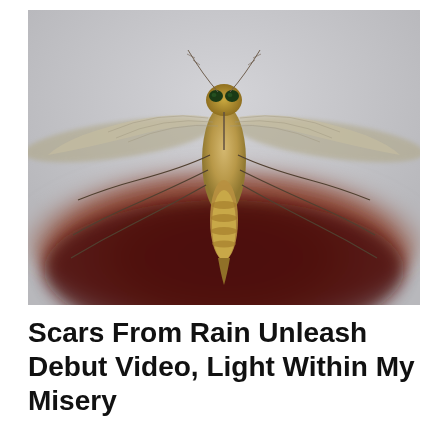[Figure (photo): Close-up macro photograph of a mosquito viewed from above/front, showing its wings spread to the sides, legs, antennae, and head with compound eyes. The mosquito's abdomen appears reddish-brown, suggesting it is engorged with blood. Background is a light gray/white with a dark reddish-brown blurred area beneath the insect.]
Scars From Rain Unleash Debut Video, Light Within My Misery